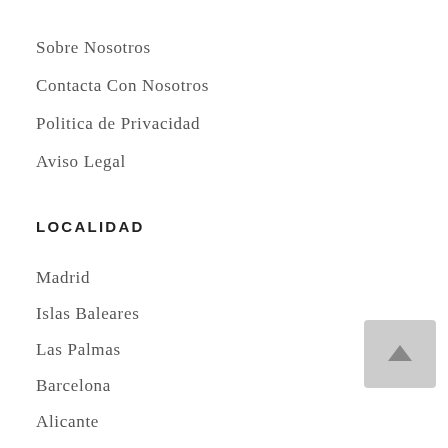Sobre Nosotros
Contacta Con Nosotros
Politica de Privacidad
Aviso Legal
LOCALIDAD
Madrid
Islas Baleares
Las Palmas
Barcelona
Alicante
Cádiz
Mál…